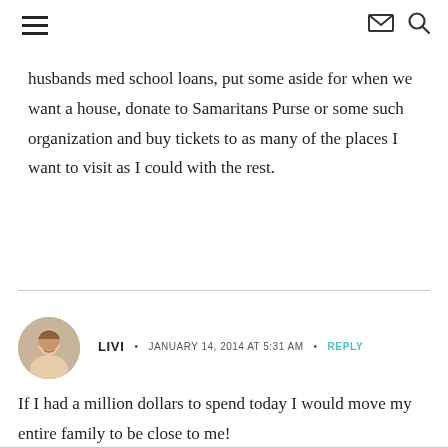navigation header with hamburger menu, mail icon, and search icon
husbands med school loans, put some aside for when we want a house, donate to Samaritans Purse or some such organization and buy tickets to as many of the places I want to visit as I could with the rest.
LIVI · JANUARY 14, 2014 AT 5:31 AM · REPLY
If I had a million dollars to spend today I would move my entire family to be close to me!